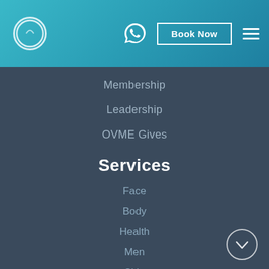[Figure (screenshot): Website header bar with teal/cyan gradient background, circular logo outline on left, WhatsApp icon, Book Now button, and hamburger menu on right]
Membership
Leadership
OVME Gives
Services
Face
Body
Health
Men
Skin
Shop